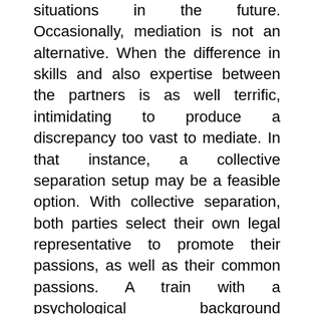situations in the future. Occasionally, mediation is not an alternative. When the difference in skills and also expertise between the partners is as well terrific, intimidating to produce a discrepancy too vast to mediate. In that instance, a collective separation setup may be a feasible option. With collective separation, both parties select their own legal representative to promote their passions, as well as their common passions. A train with a psychological background structures the procedure, directing out possible troubles concerning children in an early stage and leading the moms and dads in the direction of a service. The usual